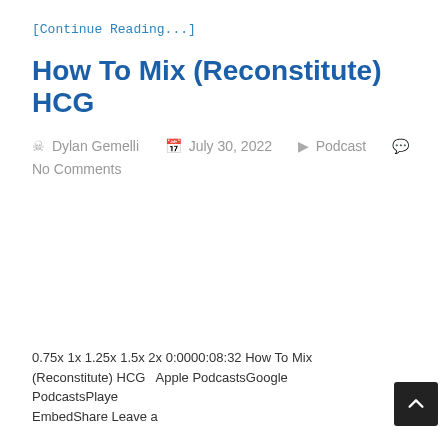[Continue Reading...]
How To Mix (Reconstitute) HCG
Dylan Gemelli   July 30, 2022   Podcast   No Comments
0.75x 1x 1.25x 1.5x 2x 0:0000:08:32 How To Mix (Reconstitute) HCG   Apple PodcastsGoogle PodcastsPlayer EmbedShare Leave a